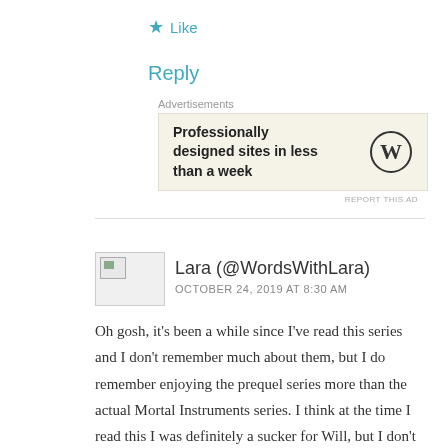★ Like
Reply
Advertisements
[Figure (other): Advertisement banner with text 'Professionally designed sites in less than a week' and WordPress logo on a beige background]
REPORT THIS AD
Lara (@WordsWithLara)
OCTOBER 24, 2019 AT 8:30 AM
Oh gosh, it's been a while since I've read this series and I don't remember much about them, but I do remember enjoying the prequel series more than the actual Mortal Instruments series. I think at the time I read this I was definitely a sucker for Will, but I don't know if that would still stand now.. It would actually be very